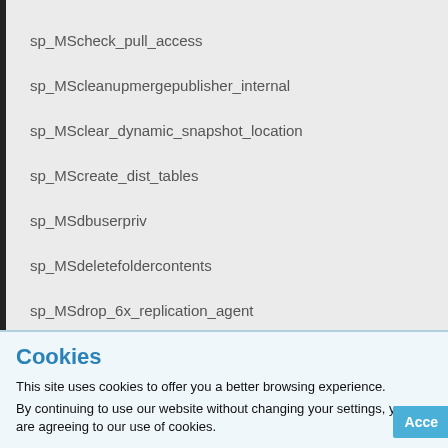sp_MScheck_pull_access
sp_MScleanupmerge publisher_internal
sp_MSclear_dynamic_snapshot_location
sp_MScreate_dist_tables
sp_MSdbuserpriv
sp_MSdeletefoldercontents
sp_MSdrop_6x_replication_agent
sp_MSdrop_merge_agent
Cookies
This site uses cookies to offer you a better browsing experience.
By continuing to use our website without changing your settings, you are agreeing to our use of cookies.